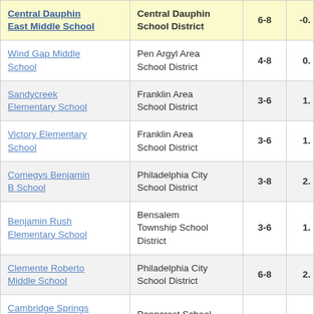| School | District | Grades | Value |
| --- | --- | --- | --- |
| Central Dauphin East Middle School | Central Dauphin School District | 6-8 | -0. |
| [Wind Gap Middle School] | Pen Argyl Area School District | 4-8 | 0. |
| Sandycreek Elementary School | Franklin Area School District | 3-6 | 1. |
| Victory Elementary School | Franklin Area School District | 3-6 | 1. |
| Comegys Benjamin B School | Philadelphia City School District | 3-8 | 2. |
| Benjamin Rush Elementary School | Bensalem Township School District | 3-6 | 1. |
| Clemente Roberto Middle School | Philadelphia City School District | 6-8 | 2. |
| Cambridge Springs Junior/Senior High School | Penncrest School District | 7-11 | 1. |